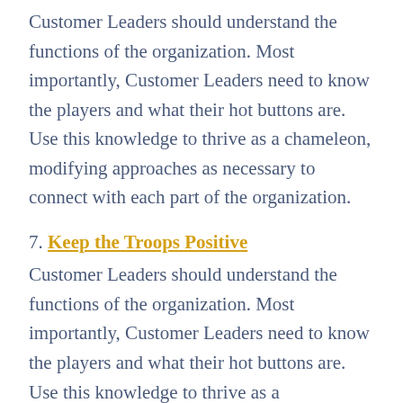Customer Leaders should understand the functions of the organization. Most importantly, Customer Leaders need to know the players and what their hot buttons are.  Use this knowledge to thrive as a chameleon, modifying approaches as necessary to connect with each part of the organization.
7. Keep the Troops Positive
Customer Leaders should understand the functions of the organization. Most importantly, Customer Leaders need to know the players and what their hot buttons are.  Use this knowledge to thrive as a